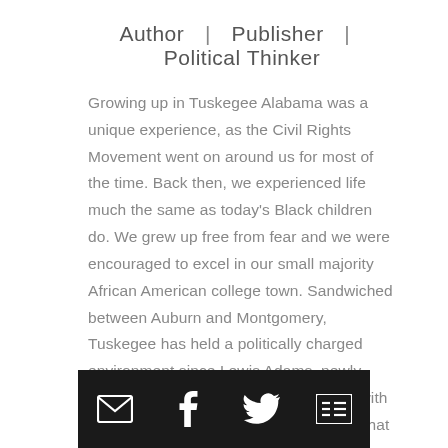Author  |  Publisher  |  Political Thinker
Growing up in Tuskegee Alabama was a unique experience, as the Civil Rights Movement went on around us for most of the time. Back then, we experienced life much the same as today’s Black children do. We grew up free from fear and we were encouraged to excel in our small majority African American college town. Sandwiched between Auburn and Montgomery, Tuskegee has held a politically charged environment since Lewis Adams, newly released from slavery, brokered a deal with two Alabama Senators to help finance what is now Tuskegee University.

And politics has been in my blood since I was a
[Figure (other): Dark toolbar with four social/action icons: envelope (email), Facebook, Twitter, and a list/menu icon, on a black background.]